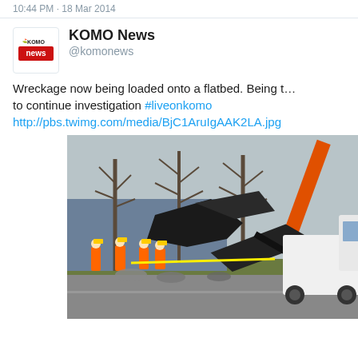10:44 PM · 18 Mar 2014
KOMO News
@komonews
Wreckage now being loaded onto a flatbed. Being t… to continue investigation #liveonkomo http://pbs.twimg.com/media/BjC1AruIgAAK2LA.jpg
[Figure (photo): Workers in orange safety vests and yellow hard hats loading helicopter wreckage onto a flatbed truck using an orange crane. Multiple workers visible on a roadway with bare trees and a building in the background.]